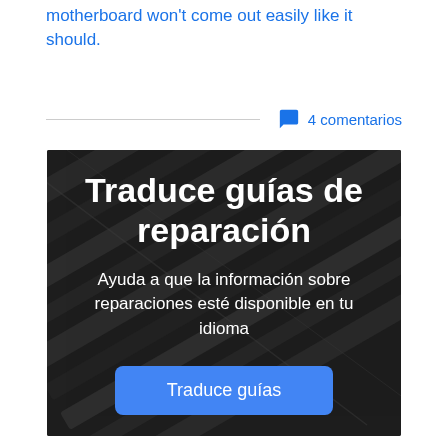motherboard won't come out easily like it should.
4 comentarios
[Figure (photo): Dark background image of black pencils arranged diagonally, with white text overlay reading 'Traduce guías de reparación' and subtitle 'Ayuda a que la información sobre reparaciones esté disponible en tu idioma', plus a blue 'Traduce guías' button.]